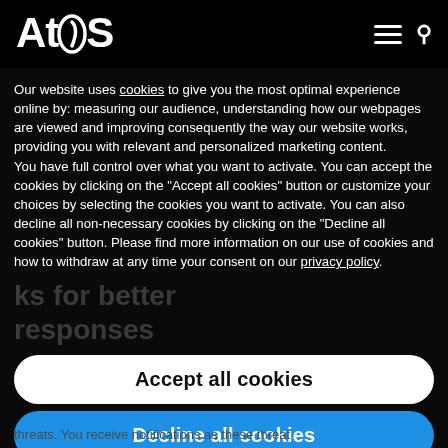Atos
Our website uses cookies to give you the most optimal experience online by: measuring our audience, understanding how our webpages are viewed and improving consequently the way our website works, providing you with relevant and personalized marketing content.
You have full control over what you want to activate. You can accept the cookies by clicking on the "Accept all cookies" button or customize your choices by selecting the cookies you want to activate. You can also decline all non-necessary cookies by clicking on the "Decline all cookies" button. Please find more information on our use of cookies and how to withdraw at any time your consent on our privacy policy.
Accept all cookies
Decline all cookies
Customize
Privacy policy
threats. You receive notifications as these threat